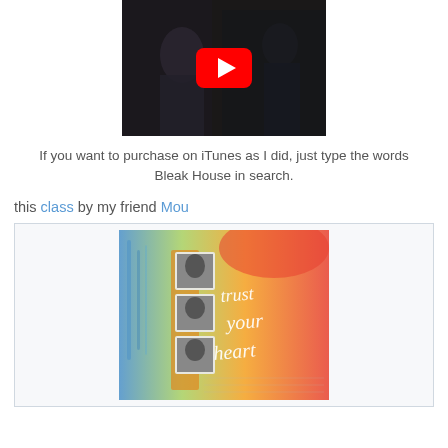[Figure (screenshot): YouTube video thumbnail showing a dark scene with a person in formal attire and a red YouTube play button overlay]
If you want to purchase on iTunes as I did, just type the words Bleak House in search.
this class by my friend Mou
[Figure (photo): Art journal page with watercolor background in blue, yellow, red and orange hues, black and white photos of children, and white script lettering reading 'trust your heart']